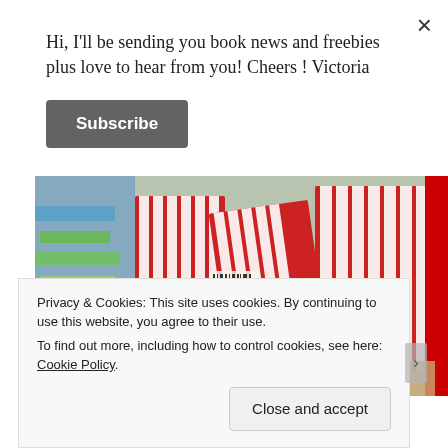Hi, I'll be sending you book news and freebies plus love to hear from you! Cheers ! Victoria
Subscribe
[Figure (photo): Red and white striped gift bags/boxes in a store aisle with colorful shelving in the background]
Labor Day is on the way!
AcilM
Privacy & Cookies: This site uses cookies. By continuing to use this website, you agree to their use.
To find out more, including how to control cookies, see here: Cookie Policy
Close and accept